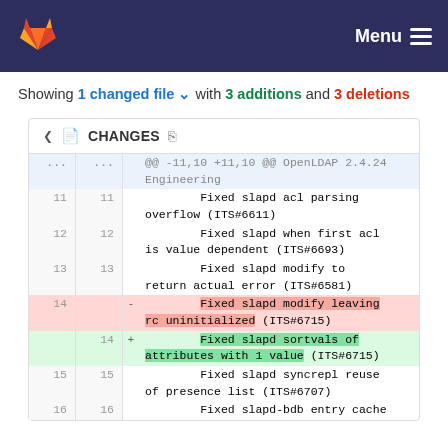GitLab — Menu
Showing 1 changed file with 3 additions and 3 deletions
CHANGES
| old ln | new ln | op | code |
| --- | --- | --- | --- |
| ... | ... |  | @@ -11,10 +11,10 @@ OpenLDAP 2.4.24 Engineering |
| 11 | 11 |  |         Fixed slapd acl parsing overflow (ITS#6611) |
| 12 | 12 |  |         Fixed slapd when first acl is value dependent (ITS#6693) |
| 13 | 13 |  |         Fixed slapd modify to return actual error (ITS#6581) |
| 14 |  | - |         Fixed slapd modify leaving rc uninitialized (ITS#6715) |
|  | 14 | + |         Fixed slapd sortvals of attributes with 1 value (ITS#6715) |
| 15 | 15 |  |         Fixed slapd syncrepl reuse of presence list (ITS#6707) |
| 16 | 16 |  |         Fixed slapd-bdb entry cache |